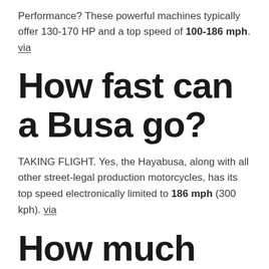Performance? These powerful machines typically offer 130-170 HP and a top speed of 100-186 mph. via
How fast can a Busa go?
TAKING FLIGHT. Yes, the Hayabusa, along with all other street-legal production motorcycles, has its top speed electronically limited to 186 mph (300 kph). via
How much horsepower